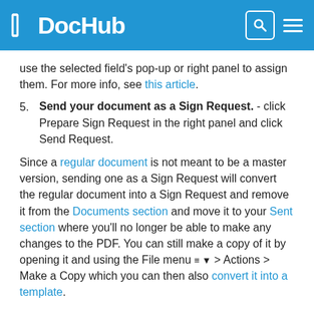DocHub
use the selected field's pop-up or right panel to assign them. For more info, see this article.
5. Send your document as a Sign Request. - click Prepare Sign Request in the right panel and click Send Request.
Since a regular document is not meant to be a master version, sending one as a Sign Request will convert the regular document into a Sign Request and remove it from the Documents section and move it to your Sent section where you'll no longer be able to make any changes to the PDF. You can still make a copy of it by opening it and using the File menu ≡ ▾ > Actions > Make a Copy which you can then also convert it into a template.